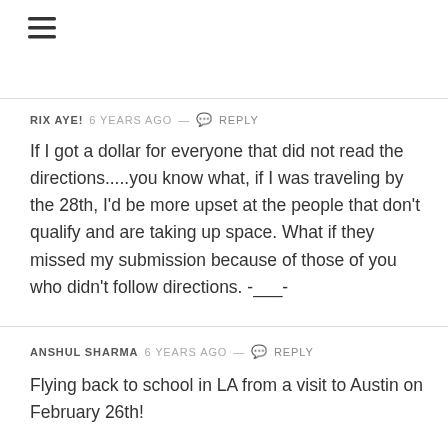[Figure (other): Hamburger menu icon (three horizontal lines)]
RIX AYE! 6 years ago — Reply
If I got a dollar for everyone that did not read the directions.....you know what, if I was traveling by the 28th, I'd be more upset at the people that don't qualify and are taking up space. What if they missed my submission because of those of you who didn't follow directions. -___-
ANSHUL SHARMA 6 years ago — Reply
Flying back to school in LA from a visit to Austin on February 26th!

Flight 1474 from AUS to LAX

I know it's a short flight, but hey, worth a try! Thanks for doing this everyone!